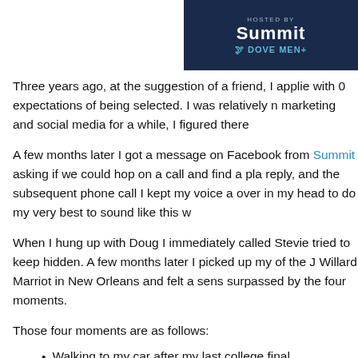[Figure (photo): Partial photo showing a dark navy banner with 'HOSTED BY' text at top, large white text partially visible (appears to say 'Summit'), and below it 'DOVE MEN+' branding in teal/blue, on a dark background.]
Three years ago, at the suggestion of a friend, I applied with 0 expectations of being selected. I was relatively new to marketing and social media for a while, I figured there
A few months later I got a message on Facebook from Summit asking if we could hop on a call and find a place to reply, and the subsequent phone call I kept my voice a over in my head to do my very best to sound like this w
When I hung up with Doug I immediately called Stevie tried to keep hidden. A few months later I picked up my of the J Willard Marriot in New Orleans and felt a sens surpassed by the four moments.
Those four moments are as follows:
Walking to my car after my last college final
Looking Stevie in the eyes when she said “I do”
Becoming a dad